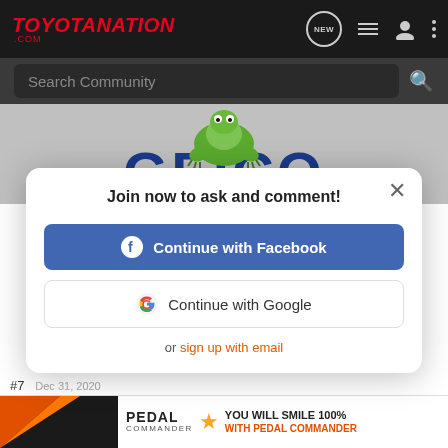TOYOTANATION .COM
Search Community
[Figure (screenshot): GEICO advertisement banner with green gecko mascot and large blue GEICO text]
Join now to ask and comment!
Continue with Facebook
Continue with Google
or sign up with email
WOW, W
[Figure (advertisement): Pedal Commander advertisement banner: YOU WILL SMILE 100% WITH PEDAL COMMANDER]